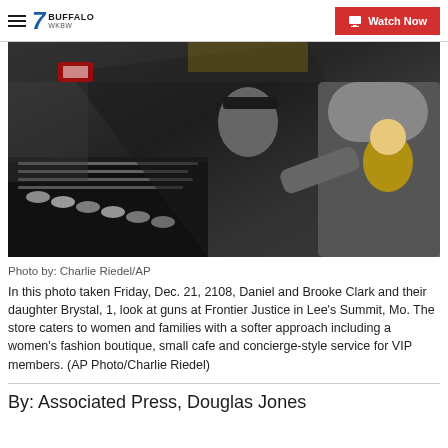7 BUFFALO WKBW | Watch Now
[Figure (photo): People looking at guns displayed in a glass case at Frontier Justice gun store. A man in a gray t-shirt browses handguns while a woman in a black cap holds a baby in a yellow outfit.]
Photo by: Charlie Riedel/AP
In this photo taken Friday, Dec. 21, 2108, Daniel and Brooke Clark and their daughter Brystal, 1, look at guns at Frontier Justice in Lee's Summit, Mo. The store caters to women and families with a softer approach including a women's fashion boutique, small cafe and concierge-style service for VIP members. (AP Photo/Charlie Riedel)
By: Associated Press, Douglas Jones